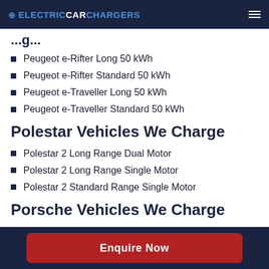ELECTRICCARCHARGERS
Polestar Vehicles We Charge
Peugeot e-Rifter Long 50 kWh
Peugeot e-Rifter Standard 50 kWh
Peugeot e-Traveller Long 50 kWh
Peugeot e-Traveller Standard 50 kWh
Polestar Vehicles We Charge
Polestar 2 Long Range Dual Motor
Polestar 2 Long Range Single Motor
Polestar 2 Standard Range Single Motor
Porsche Vehicles We Charge
Enquire Now